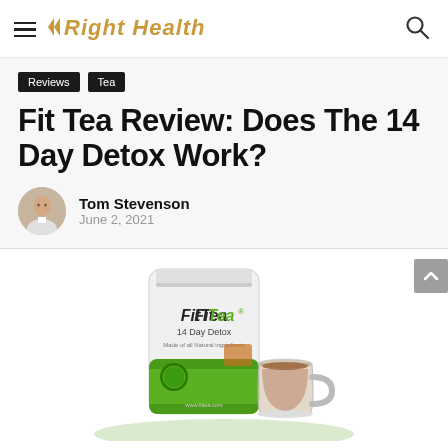Right Health
Reviews   Tea
Fit Tea Review: Does The 14 Day Detox Work?
Tom Stevenson
June 2, 2021
[Figure (photo): FitTea 14 Day Detox product package (white and green pouch) alongside a glass cup of tea]